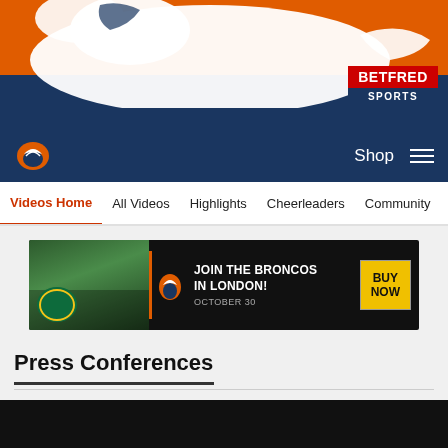[Figure (illustration): Denver Broncos hero banner with orange background, white horse logo silhouette, and navy blue gradient. Betfred Sports badge in bottom right corner.]
[Figure (illustration): Denver Broncos navigation bar with logo on left, Shop link and hamburger menu on right, dark navy background.]
[Figure (illustration): Horizontal navigation menu bar with Videos Home (active, orange), All Videos, Highlights, Cheerleaders, Community tabs.]
[Figure (illustration): Advertisement banner: Join the Broncos in London! October 30. Buy Now button. Shows Jaguars vs Broncos logos.]
Press Conferences
[Figure (screenshot): Black video thumbnail area for Press Conferences video.]